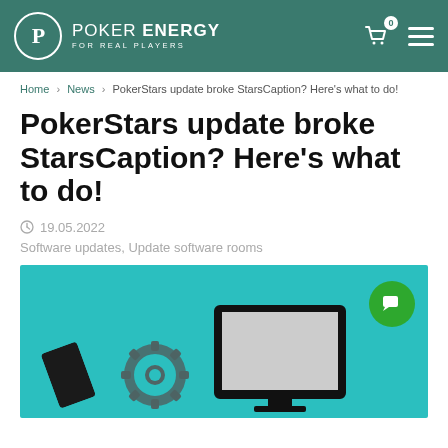POKER ENERGY FOR REAL PLAYERS
Home > News > PokerStars update broke StarsCaption? Here's what to do!
PokerStars update broke StarsCaption? Here's what to do!
19.05.2022
Software updates, Update software rooms
[Figure (illustration): Teal/cyan background illustration with a gear icon, computer screen, and a card, with a green chat bubble icon in the top right corner]